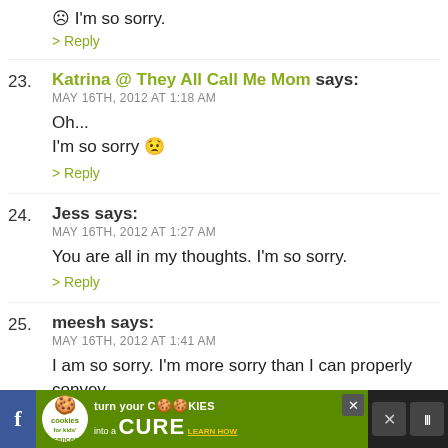I'm so sorry.
> Reply
23. Katrina @ They All Call Me Mom says: MAY 16TH, 2012 AT 1:18 AM — Oh... I'm so sorry :(
> Reply
24. Jess says: MAY 16TH, 2012 AT 1:27 AM — You are all in my thoughts. I'm so sorry.
> Reply
25. meesh says: MAY 16TH, 2012 AT 1:41 AM — I am so sorry. I'm more sorry than I can properly convey
> Reply
[Figure (infographic): Advertisement banner: Cookies for Kids' Cancer - turn your cookies into a CURE LEARN HOW]